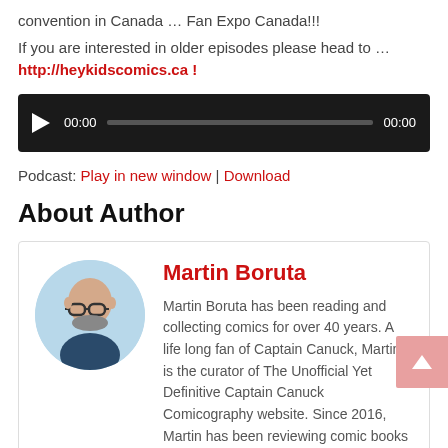convention in Canada … Fan Expo Canada!!!
If you are interested in older episodes please head to … http://heykidscomics.ca !
[Figure (other): Audio player widget with play button, time display 00:00, progress bar, and end time 00:00 on dark background]
Podcast: Play in new window | Download
About Author
[Figure (photo): Circular profile photo of Martin Boruta, a man with glasses and beard]
Martin Boruta
Martin Boruta has been reading and collecting comics for over 40 years. A life long fan of Captain Canuck, Martin is the curator of The Unofficial Yet Definitive Captain Canuck Comicography website. Since 2016, Martin has been reviewing comic books and highlighting great new